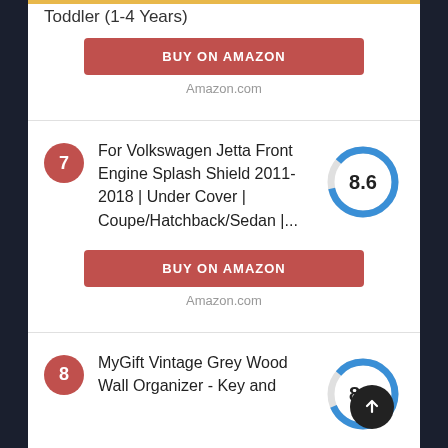Toddler (1-4 Years)
BUY ON AMAZON
Amazon.com
For Volkswagen Jetta Front Engine Splash Shield 2011-2018 | Under Cover | Coupe/Hatchback/Sedan |...
[Figure (donut-chart): Score 8.6]
BUY ON AMAZON
Amazon.com
MyGift Vintage Grey Wood Wall Organizer - Key and
[Figure (donut-chart): Score 8.3]